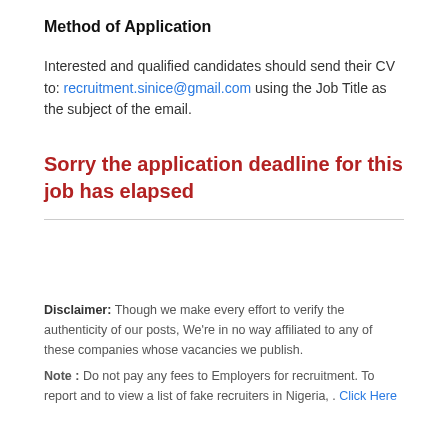Method of Application
Interested and qualified candidates should send their CV to: recruitment.sinice@gmail.com using the Job Title as the subject of the email.
Sorry the application deadline for this job has elapsed
Disclaimer: Though we make every effort to verify the authenticity of our posts, We're in no way affiliated to any of these companies whose vacancies we publish.
Note : Do not pay any fees to Employers for recruitment. To report and to view a list of fake recruiters in Nigeria, . Click Here